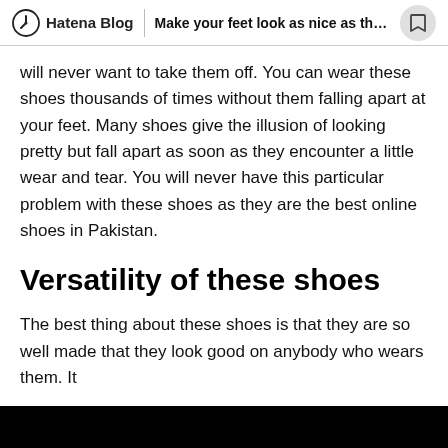Hatena Blog | Make your feet look as nice as the...
will never want to take them off. You can wear these shoes thousands of times without them falling apart at your feet. Many shoes give the illusion of looking pretty but fall apart as soon as they encounter a little wear and tear. You will never have this particular problem with these shoes as they are the best online shoes in Pakistan.
Versatility of these shoes
The best thing about these shoes is that they are so well made that they look good on anybody who wears them. It